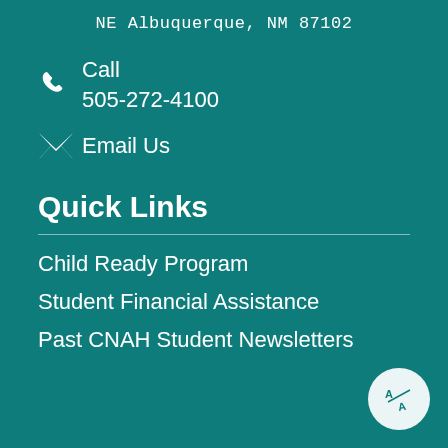NE Albuquerque, NM 87102
Call
505-272-4100
Email Us
Quick Links
Child Ready Program
Student Financial Assistance
Past CNAH Student Newsletters